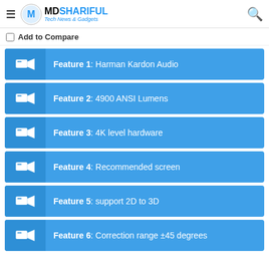MDSHARIFUL Tech News & Gadgets
Add to Compare
Feature 1: Harman Kardon Audio
Feature 2: 4900 ANSI Lumens
Feature 3: 4K level hardware
Feature 4: Recommended screen
Feature 5: support 2D to 3D
Feature 6: Correction range ±45 degrees